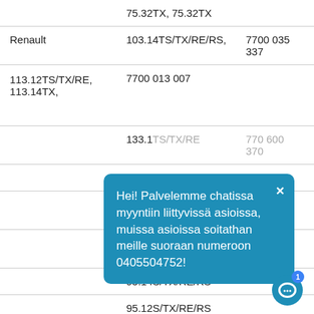|  | 75.32TX, 75.32TX |  |
| Renault | 103.14TS/TX/RE/RS, | 7700 035 337 |
| 113.12TS/TX/RE,
113.14TX, | 7700 013 007 |  |
|  | 133.1TS/TX/RE | 770 600 370 |
|  | 145.1 |  |
|  | 75.12
80.14 |  |
|  | 75.14
145.5 |  |
|  | 95.14S/TX/RE/RS |  |
|  | 95.12S/TX/RE/RS |  |
[Figure (screenshot): Chat popup overlay with Finnish text: 'Hei! Palvelemme chatissa myyntiin liittyvissä asioissa, muissa asioissa soitathan meille suoraan numeroon 0405504752!' with a close button (x) in top right corner]
[Figure (screenshot): Chat icon button with notification badge showing '1']